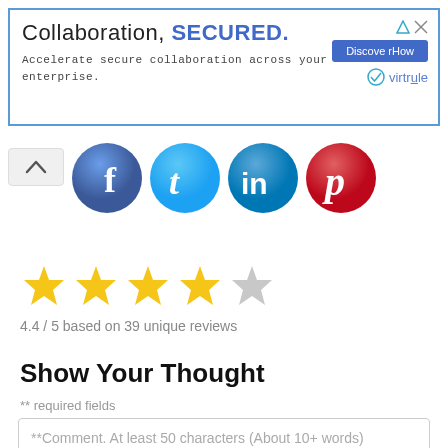[Figure (infographic): Advertisement banner with blue border. Text: 'Collaboration, SECURED.' with blue button 'Discover How' and Virtru logo.]
[Figure (illustration): Social media icons: Facebook (blue f), Twitter (blue t), LinkedIn (blue in), Pinterest (red p). Chevron/up arrow button on left.]
[Figure (infographic): Star rating display: 4.5 stars out of 5, with 4 full gold stars and 1 half/grey star.]
4.4 / 5 based on 39 unique reviews
Show Your Thought
** required fields
**Comment. At least 50 characters (About 10+ words)